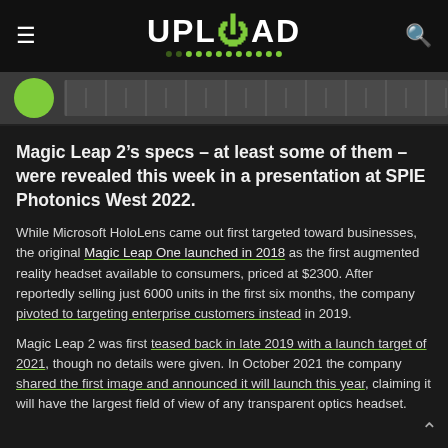UPLOAD (logo with navigation)
[Figure (photo): Partial image strip showing a green circle and ruler/measurement background, cropped at top]
Magic Leap 2’s specs – at least some of them – were revealed this week in a presentation at SPIE Photonics West 2022.
While Microsoft HoloLens came out first targeted toward businesses, the original Magic Leap One launched in 2018 as the first augmented reality headset available to consumers, priced at $2300. After reportedly selling just 6000 units in the first six months, the company pivoted to targeting enterprise customers instead in 2019.
Magic Leap 2 was first teased back in late 2019 with a launch target of 2021, though no details were given. In October 2021 the company shared the first image and announced it will launch this year, claiming it will have the largest field of view of any transparent optics headset.